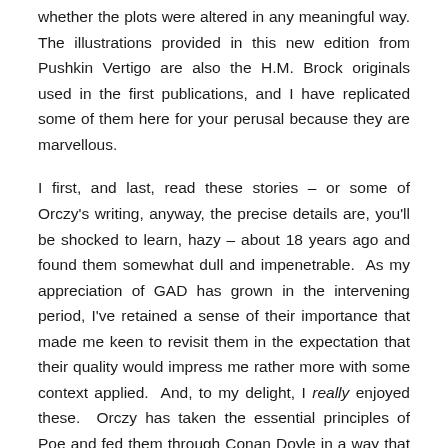whether the plots were altered in any meaningful way. The illustrations provided in this new edition from Pushkin Vertigo are also the H.M. Brock originals used in the first publications, and I have replicated some of them here for your perusal because they are marvellous.
I first, and last, read these stories – or some of Orczy's writing, anyway, the precise details are, you'll be shocked to learn, hazy – about 18 years ago and found them somewhat dull and impenetrable. As my appreciation of GAD has grown in the intervening period, I've retained a sense of their importance that made me keen to revisit them in the expectation that their quality would impress me rather more with some context applied. And, to my delight, I really enjoyed these. Orczy has taken the essential principles of Poe and fed them through Conan Doyle in a way that others spoken of in the same breath never quite managed to my taste. The armchair detection has about it the clarity of